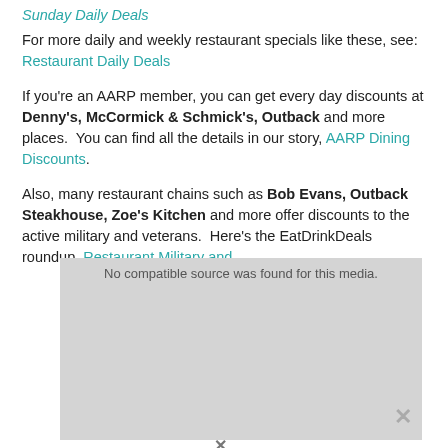Sunday Daily Deals
For more daily and weekly restaurant specials like these, see:  Restaurant Daily Deals
If you're an AARP member, you can get every day discounts at Denny's, McCormick & Schmick's, Outback and more places.  You can find all the details in our story, AARP Dining Discounts.
Also, many restaurant chains such as Bob Evans, Outback Steakhouse, Zoe's Kitchen and more offer discounts to the active military and veterans.  Here's the EatDrinkDeals roundup, Restaurant Military and
[Figure (other): Video player showing 'No compatible source was found for this media.' with an orange advertisement banner overlay: 'Help send medical aid to Ukraine >> DirectRelief']